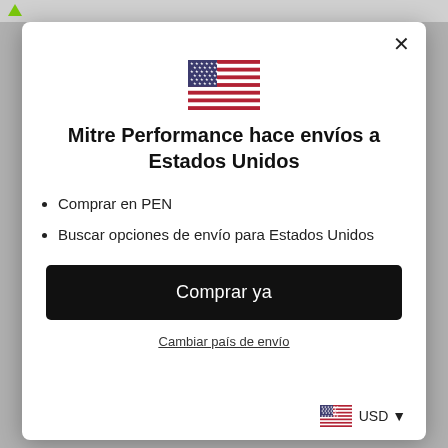[Figure (illustration): US flag SVG inside modal]
Mitre Performance hace envíos a Estados Unidos
Comprar en PEN
Buscar opciones de envío para Estados Unidos
Comprar ya
Cambiar país de envío
USD